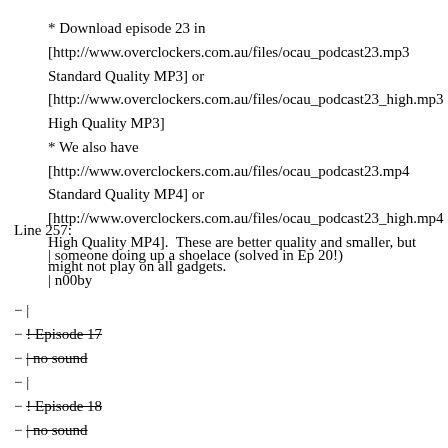* Download episode 23 in [http://www.overclockers.com.au/files/ocau_podcast23.mp3 Standard Quality MP3] or [http://www.overclockers.com.au/files/ocau_podcast23_high.mp3 High Quality MP3]
* We also have [http://www.overclockers.com.au/files/ocau_podcast23.mp4 Standard Quality MP4] or [http://www.overclockers.com.au/files/ocau_podcast23_high.mp4 High Quality MP4].  These are better quality and smaller, but might not play on all gadgets.
Line 257:
| someone doing up a shoelace (solved in Ep 20!)
| n00by
− |
− | Episode 17
− | no sound
− |
− | Episode 18
− | no sound
|